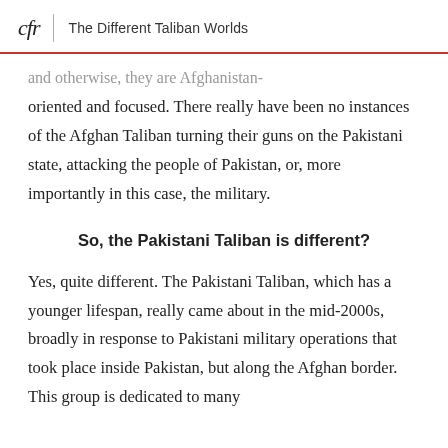cfr | The Different Taliban Worlds
and otherwise, they are Afghanistan-oriented and focused. There really have been no instances of the Afghan Taliban turning their guns on the Pakistani state, attacking the people of Pakistan, or, more importantly in this case, the military.
So, the Pakistani Taliban is different?
Yes, quite different. The Pakistani Taliban, which has a younger lifespan, really came about in the mid-2000s, broadly in response to Pakistani military operations that took place inside Pakistan, but along the Afghan border. This group is dedicated to many